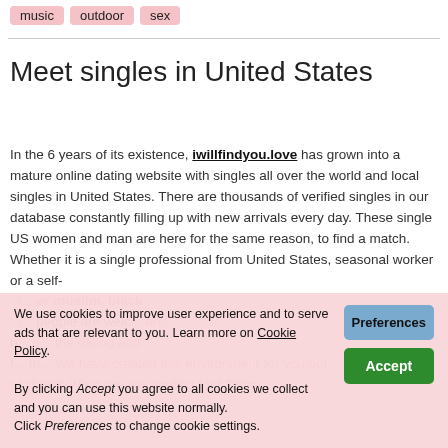music
outdoor
sex
Meet singles in United States
In the 6 years of its existence, iwillfindyou.love has grown into a mature online dating website with singles all over the world and local singles in United States. There are thousands of verified singles in our database constantly filling up with new arrivals every day. These single US women and man are here for the same reason, to find a match. Whether it is a single professional from United States, seasonal worker or a self- m... or muslim, black th... people are welc... and b... u... the dating and f... m... We have created this environment for you out at chase! What are you waiting for? Today
We use cookies to improve user experience and to serve ads that are relevant to you. Learn more on Cookie Policy. By clicking Accept you agree to all cookies we collect and you can use this website normally. Click Preferences to change cookie settings.